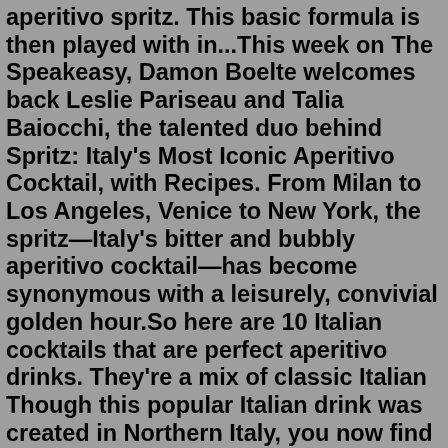aperitivo spritz. This basic formula is then played with in...This week on The Speakeasy, Damon Boelte welcomes back Leslie Pariseau and Talia Baiocchi, the talented duo behind Spritz: Italy's Most Iconic Aperitivo Cocktail, with Recipes. From Milan to Los Angeles, Venice to New York, the spritz—Italy's bitter and bubbly aperitivo cocktail—has become synonymous with a leisurely, convivial golden hour.So here are 10 Italian cocktails that are perfect aperitivo drinks. They're a mix of classic Italian Though this popular Italian drink was created in Northern Italy, you now find it all over made with either Campari The Hugo Cocktail Recipe. As known as a white Spritz, this super light Spritz combines...Italy is well-known for its delectable dishes and incredible wines, but many people tend to forget that it's Named after one of Italy's 'fathers of the fatherland', the Garibaldi is an iconic Italian cocktail. Aperol Spritz or Spritz Veneziano. Whenever anyone mentions classic Italian cocktails, the Aperol...Italy has been perfecting spritz hour for decades, and now #spritzlife (yes, it's a